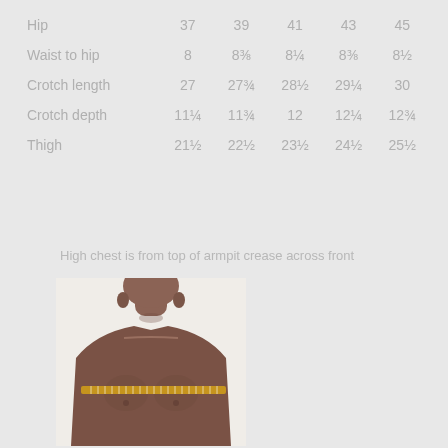|  | col1 | col2 | col3 | col4 | col5 |
| --- | --- | --- | --- | --- | --- |
| Hip | 37 | 39 | 41 | 43 | 45 |
| Waist to hip | 8 | 8⅜ | 8¼ | 8⅜ | 8½ |
| Crotch length | 27 | 27¾ | 28½ | 29¼ | 30 |
| Crotch depth | 11¼ | 11¾ | 12 | 12¼ | 12¾ |
| Thigh | 21½ | 22½ | 23½ | 24½ | 25½ |
High chest is from top of armpit crease across front
[Figure (illustration): 3D rendered male torso showing measurement tape across chest at armpit level, highlighted in yellow]